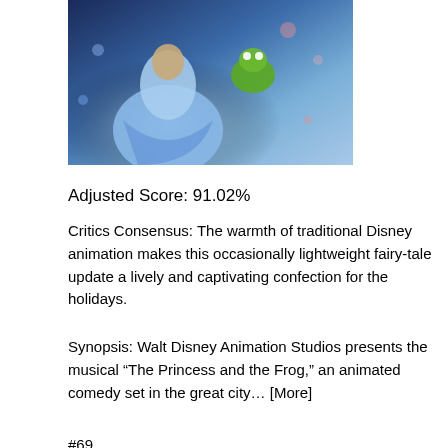[Figure (photo): Animated movie still from The Princess and the Frog showing princess in blue dress with a frog]
Adjusted Score: 91.02%
Critics Consensus: The warmth of traditional Disney animation makes this occasionally lightweight fairy-tale update a lively and captivating confection for the holidays.
Synopsis: Walt Disney Animation Studios presents the musical “The Princess and the Frog,” an animated comedy set in the great city… [More]
#69
[Figure (photo): Close-up of an animated character's face with dramatic lighting]